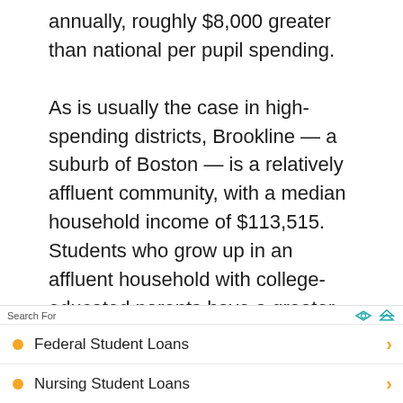annually, roughly $8,000 greater than national per pupil spending.

As is usually the case in high-spending districts, Brookline — a suburb of Boston — is a relatively affluent community, with a median household income of $113,515. Students who grow up in an affluent household with college-educated parents have a greater chance to succeed academically. Among the district's adults, 83.7% have at least a bachelor's degree, one
Search For
Federal Student Loans
Nursing Student Loans